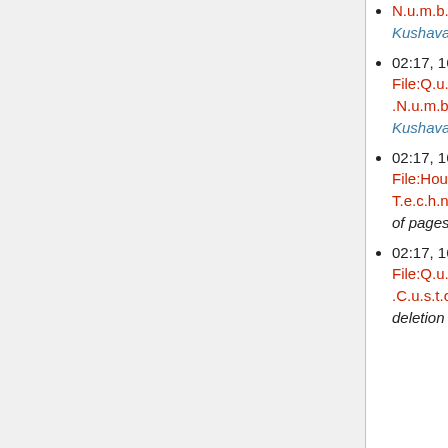02:17, 16 August 2016 Kir (talk | contribs) deleted page File:Q.u.i.c.k.B.o.o.k.s +1.8.8.8.5.1.3.5.9.7.8 S.u.p.p.o.r.t.N.u.m.b.e.r.pdf (Mass deletion of pages added by Kushava)
02:17, 16 August 2016 Kir (talk | contribs) deleted page File:Houston 1.8.6.6.7.2.5.7.4.9.0 S.A.G.E O.n.e T.e.c.h.n.i.c.a.l S.u.p.p.o.r.t N.u.m.b.e.r.pdf (Mass deletion of pages added by Kushava)
02:17, 16 August 2016 Kir (talk | contribs) deleted page File:Q.u.i.c.k.B.o.o.k.s +1.8.8.8.5.1.3.5.9.7.8 .C.u.s.t.o.m.e.r .S.u.p.p.o.r.t. Phone .N.u.m.b.e.r.pdf (Mass deletion of pages added by